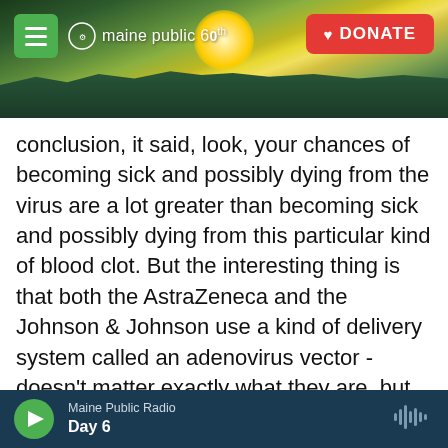[Figure (screenshot): Maine Public Radio website header with sunset landscape banner. Green hamburger menu button on left, Maine Public 60th anniversary logo in center, red DONATE button on right.]
conclusion, it said, look, your chances of becoming sick and possibly dying from the virus are a lot greater than becoming sick and possibly dying from this particular kind of blood clot. But the interesting thing is that both the AstraZeneca and the Johnson & Johnson use a kind of delivery system called an adenovirus vector - doesn't matter exactly what they are, but that's different from Pfizer and Moderna, which doesn't use an adenovirus vector. And so that may be why we're seeing it in one and not the other. And in any case, it seems to be a rare something to do with the immune system that is occurring but only in a very few people. The
Maine Public Radio
Day 6